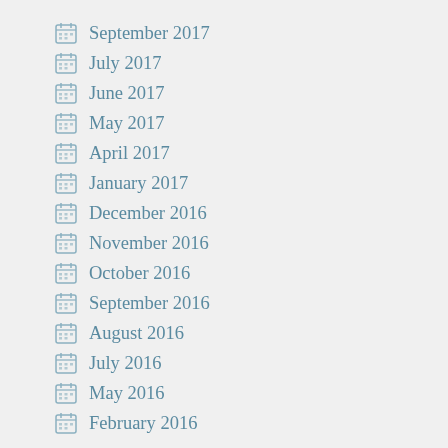September 2017
July 2017
June 2017
May 2017
April 2017
January 2017
December 2016
November 2016
October 2016
September 2016
August 2016
July 2016
May 2016
February 2016